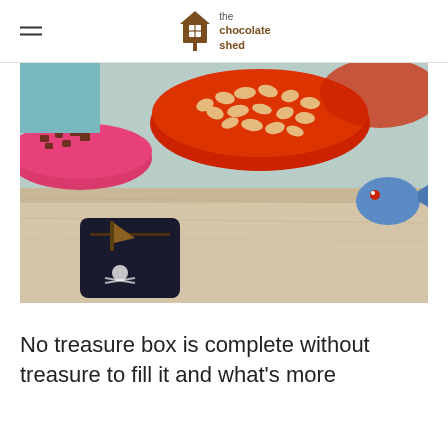the chocolate shed
[Figure (photo): Close-up photo of colorful plastic bowls (red, pink) filled with chocolate pieces and candy on a wooden surface, with a pirate-themed chocolate piece in the foreground and a fish-shaped chocolate piece on the right.]
No treasure box is complete without treasure to fill it and what's more